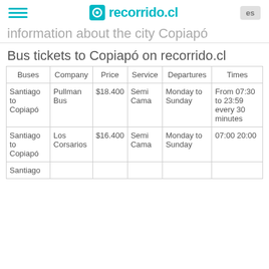recorrido.cl
information about the city Copiapó
Bus tickets to Copiapó on recorrido.cl
| Buses | Company | Price | Service | Departures | Times |
| --- | --- | --- | --- | --- | --- |
| Santiago to Copiapó | Pullman Bus | $18.400 | Semi Cama | Monday to Sunday | From 07:30 to 23:59 every 30 minutes |
| Santiago to Copiapó | Los Corsarios | $16.400 | Semi Cama | Monday to Sunday | 07:00 20:00 |
| Santiago |  |  |  |  |  |